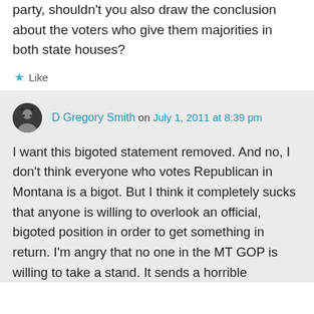party, shouldn't you also draw the conclusion about the voters who give them majorities in both state houses?
Like
D Gregory Smith on July 1, 2011 at 8:39 pm
I want this bigoted statement removed. And no, I don't think everyone who votes Republican in Montana is a bigot. But I think it completely sucks that anyone is willing to overlook an official, bigoted position in order to get something in return. I'm angry that no one in the MT GOP is willing to take a stand. It sends a horrible